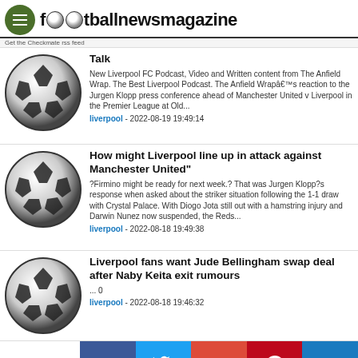footballnewsmagazine
Get the Checkmate rss feed
Talk
New Liverpool FC Podcast, Video and Written content from The Anfield Wrap. The Best Liverpool Podcast. The Anfield Wrapâ€™s reaction to the Jurgen Klopp press conference ahead of Manchester United v Liverpool in the Premier League at Old...
liverpool - 2022-08-19 19:49:14
How might Liverpool line up in attack against Manchester United"
?Firmino might be ready for next week.?  That was Jurgen Klopp?s response when asked about the striker situation following the 1-1 draw with Crystal Palace. With Diogo Jota still out with a hamstring injury and Darwin Nunez now suspended, the Reds...
liverpool - 2022-08-18 19:49:38
Liverpool fans want Jude Bellingham swap deal after Naby Keita exit rumours
... 0
liverpool - 2022-08-18 19:46:32
Shares